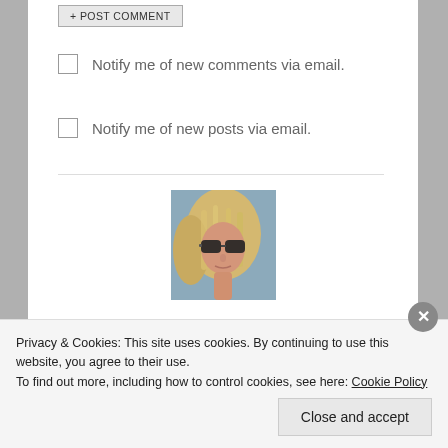POST COMMENT (button)
Notify me of new comments via email.
Notify me of new posts via email.
[Figure (photo): Profile photo of a blonde woman wearing sunglasses, photographed outdoors.]
Privacy & Cookies: This site uses cookies. By continuing to use this website, you agree to their use. To find out more, including how to control cookies, see here: Cookie Policy
Close and accept